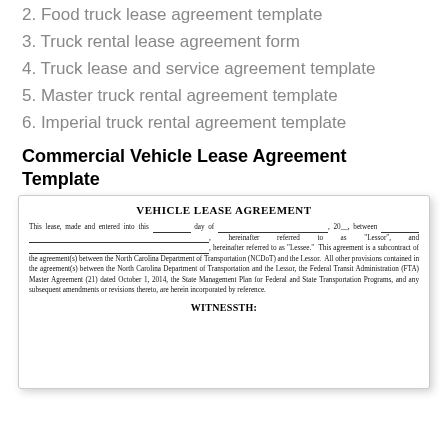2. Food truck lease agreement template
3. Truck rental lease agreement form
4. Truck lease and service agreement template
5. Master truck rental agreement template
6. Imperial truck rental agreement template
Commercial Vehicle Lease Agreement Template
[Figure (other): Scanned image of a Vehicle Lease Agreement document showing the title 'VEHICLE LEASE AGREEMENT', introductory lease text with blank fields for date and parties (Lessor and Lessee), body text referencing North Carolina Department of Transportation (NCDoT), Federal Transit Administration (FTA) Master Agreement dated October 1, 2014, and ending with 'WITNESSTH:']